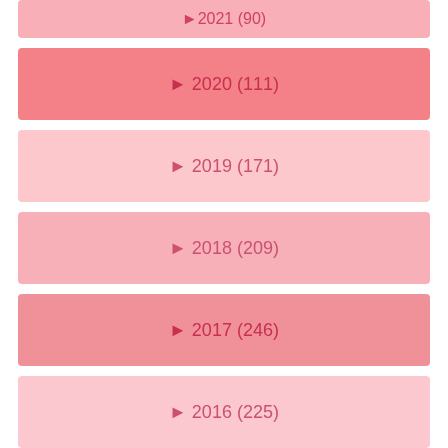►2021 (90)
►2020 (111)
►2019 (171)
►2018 (209)
►2017 (246)
►2016 (225)
►2015 (287)
►2014 (69)
►2013 (45)
►2012 (11)